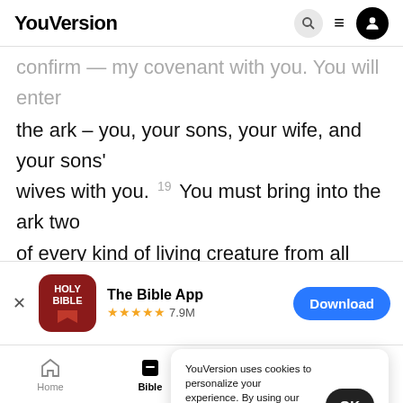YouVersion
confirm — my covenant with you. You will enter the ark – you, your sons, your wife, and your sons' wives with you. 19 You must bring into the ark two of every kind of living creature from all flesh, male and female, to keep them alive with you.
[Figure (screenshot): App download banner for The Bible App with red icon showing HOLY BIBLE text, 5 stars, 7.9M ratings, and a blue Download button]
YouVersion uses cookies to personalize your experience. By using our website, you accept our use of cookies as described in our Privacy Policy.
Home  Bible  Plans  Videos